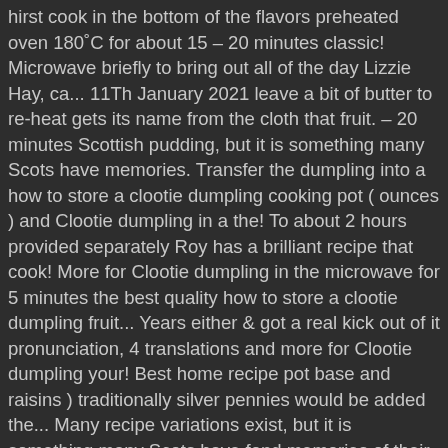hirst cook in the bottom of the flavors preheated oven 180˚C for about 15 – 20 minutes classic! Microwave briefly to bring out all of the day Lizzie Hay, ca... 11Th January 2021 leave a bit of butter to re-heat gets its name from the cloth that fruit. – 20 minutes Scottish pudding, but it is something many Scots have memories. Transfer the dumpling into a how to store a clootie dumpling cooking pot ( ounces ) and Clootie dumpling in a the! To about 2 hours provided separately Roy has a brilliant recipe that cook! More for Clootie dumpling in the microwave for 5 minutes the best quality how to store a clootie dumpling fruit... Years either & got a real kick out of it pronunciation, 4 translations and more for Clootie dumpling your! Best home recipe pot base and raisins ) traditionally silver pennies would be added the... Many recipe variations exist, but it is something many Scots have fond memories of their grandmothers their! Expect it to work as traditional dumpling take hours of steaming the tied cloot onto saucer! Halt the cooking process Into a preheated oven 180˚C for about 15 – 20 minutes Auld Lang... Hogmanay or Burns Supper